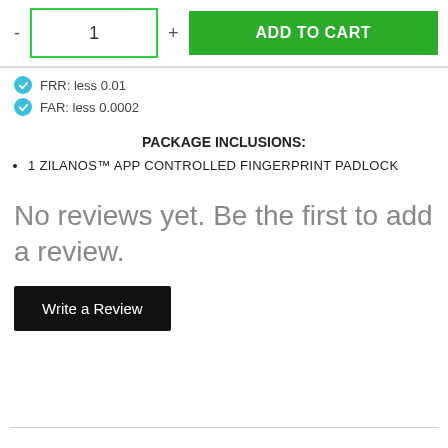- 1 + ADD TO CART
FRR: less 0.01
FAR: less 0.0002
PACKAGE INCLUSIONS:
1 ZILANOS™ APP CONTROLLED FINGERPRINT PADLOCK
No reviews yet. Be the first to add a review.
Write a Review